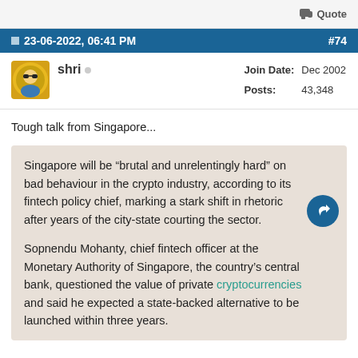Quote
23-06-2022, 06:41 PM  #74
shri  Join Date: Dec 2002  Posts: 43,348
Tough talk from Singapore...
Singapore will be “brutal and unrelentingly hard” on bad behaviour in the crypto industry, according to its fintech policy chief, marking a stark shift in rhetoric after years of the city-state courting the sector.

Sopnendu Mohanty, chief fintech officer at the Monetary Authority of Singapore, the country’s central bank, questioned the value of private cryptocurrencies and said he expected a state-backed alternative to be launched within three years.